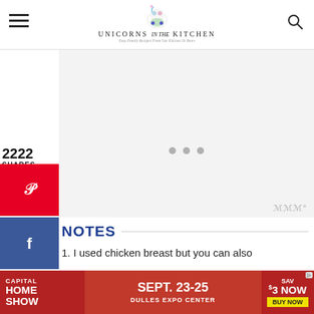Unicorns in the Kitchen — Easy Family Recipes From Our Kitchen To Yours
2222
SHARES
[Figure (logo): Pinterest share button (red)]
[Figure (logo): Facebook share button (blue)]
[Figure (logo): Yummly share button (orange)]
[Figure (other): Advertisement placeholder with loading dots]
NOTES
1. I used chicken breast but you can also
[Figure (other): Capital Home Show advertisement banner: SEPT. 23-25, DULLES EXPO CENTER, SAVE $3 NOW, BUY NOW]